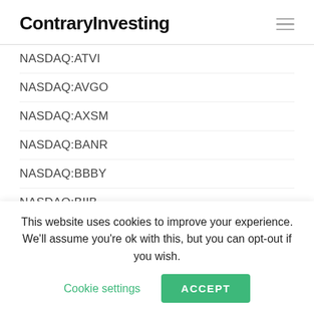ContraryInvesting
NASDAQ:ATVI
NASDAQ:AVGO
NASDAQ:AXSM
NASDAQ:BANR
NASDAQ:BBBY
NASDAQ:BIIB
NASDAQ:BKCC
NASDAQ:BLCN
NASDAQ:BROR
This website uses cookies to improve your experience. We'll assume you're ok with this, but you can opt-out if you wish. Cookie settings ACCEPT